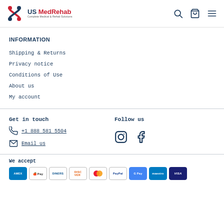US MedRehab – Complete Medical & Rehab Solutions
INFORMATION
Shipping & Returns
Privacy notice
Conditions of Use
About us
My account
Get in touch
+1 888 581 5504
Email us
Follow us
We accept
American Express, Apple Pay, Diners, Discover, Mastercard, PayPal, Google Pay, Maestro, Visa